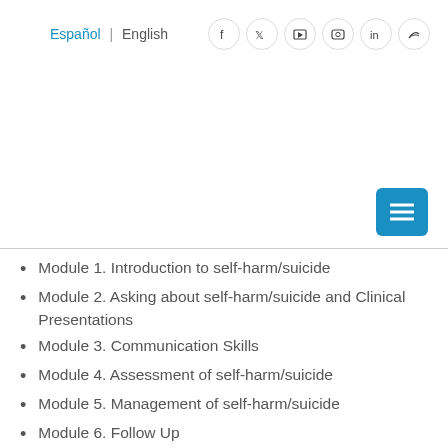Español | English
Module 1. Introduction to self-harm/suicide
Module 2. Asking about self-harm/suicide and Clinical Presentations
Module 3. Communication Skills
Module 4. Assessment of self-harm/suicide
Module 5. Management of self-harm/suicide
Module 6. Follow Up
Module 7. Suicide Prevention Strategies
JOIN COURSE